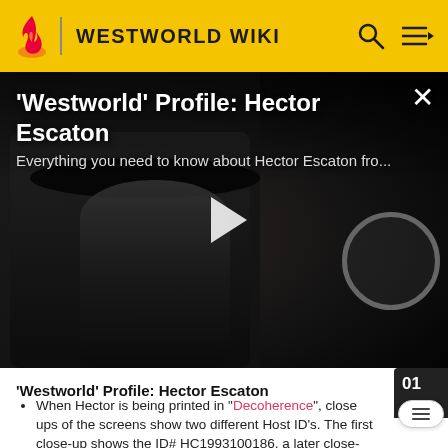WESTWORLD WIKI
[Figure (screenshot): Video thumbnail showing 'Westworld' Profile: Hector Escaton with a dark-costumed figure wearing a black hat. Play button in center. Close (X) button top right.]
'Westworld' Profile: Hector Escaton
Everything you need to know about Hector Escaton fro...
'Westworld' Profile: Hector Escaton
When Hector is being printed in "Decoherence", close ups of the screens show two different Host ID's. The first close-up shows the ID# HC1993100186, a later close-up shows the ID# HC3208173692